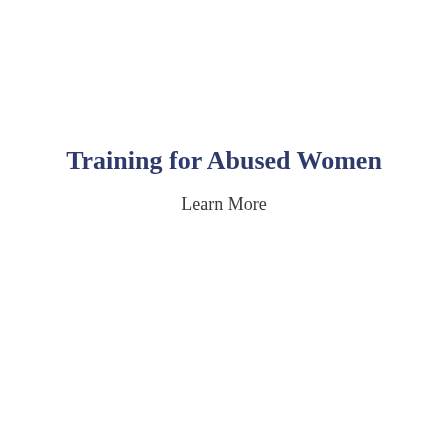Training for Abused Women
Learn More